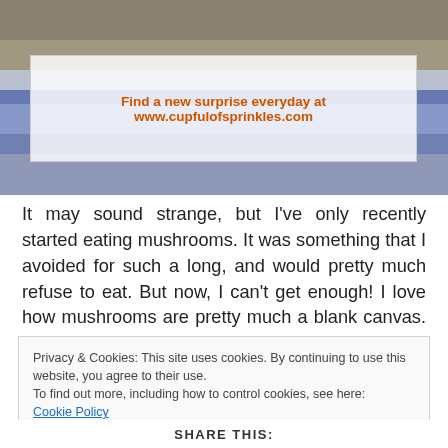[Figure (photo): Photo of food on a blue-rimmed plate with overlay text: Find a new surprise everyday at www.cupfulofsprinkles.com]
It may sound strange, but I've only recently started eating mushrooms. It was something that I avoided for such a long, and would pretty much refuse to eat. But now, I can't get enough! I love how mushrooms are pretty much a blank canvas. They have the ability to absorb basically any flavour, and what you get at the end, is a different taste every time. You can fry them, stuff them, or even turn
Privacy & Cookies: This site uses cookies. By continuing to use this website, you agree to their use.
To find out more, including how to control cookies, see here: Cookie Policy
Close and accept
SHARE THIS: